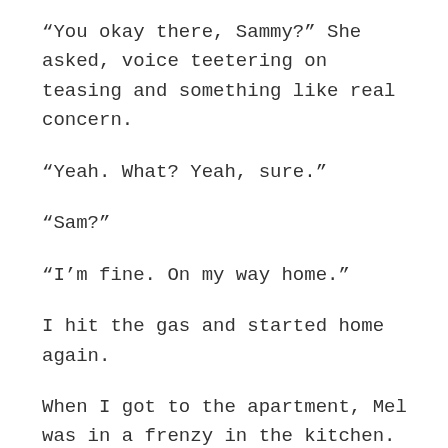“You okay there, Sammy?” She asked, voice teetering on teasing and something like real concern.
“Yeah. What? Yeah, sure.”
“Sam?”
“I’m fine. On my way home.”
I hit the gas and started home again.
When I got to the apartment, Mel was in a frenzy in the kitchen. It was like she was under a spell. She had her recipe journal out on the counter and was making notes in it as she tasted things out of different pots and pans, adding a pinch of something here or a sprinkle of something there.